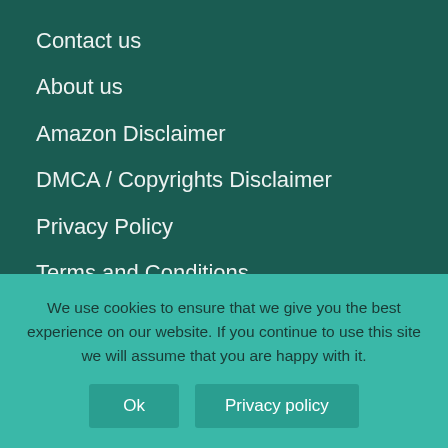Contact us
About us
Amazon Disclaimer
DMCA / Copyrights Disclaimer
Privacy Policy
Terms and Conditions
Recent Articles
Will you be able to travel? Here's what you need to know:
We use cookies to ensure that we give you the best experience on our website. If you continue to use this site we will assume that you are happy with it.
Ok
Privacy policy